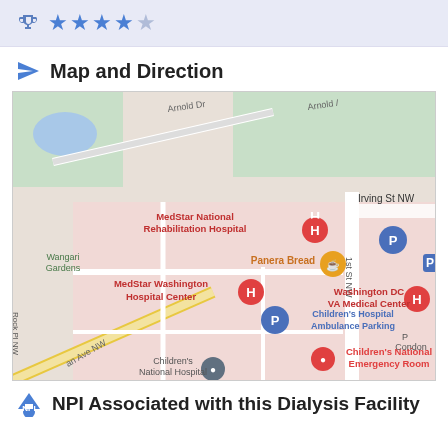[Figure (other): Rating bar with trophy icon and 4 out of 5 blue stars]
Map and Direction
[Figure (map): Google Maps screenshot showing MedStar National Rehabilitation Hospital, MedStar Washington Hospital Center, Washington DC VA Medical Center, Children's National Hospital, Children's National Emergency Room, Children's Hospital Ambulance Parking, Panera Bread, Wangari Gardens, along Arnold Dr, Irving St NW, 1st St NW, Rock Pl NW, Michigan Ave NW area in Washington DC]
NPI Associated with this Dialysis Facility